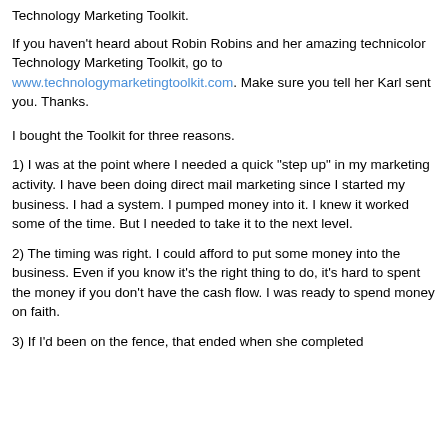Technology Marketing Toolkit.
If you haven't heard about Robin Robins and her amazing technicolor Technology Marketing Toolkit, go to www.technologymarketingtoolkit.com. Make sure you tell her Karl sent you. Thanks.
I bought the Toolkit for three reasons.
1) I was at the point where I needed a quick "step up" in my marketing activity. I have been doing direct mail marketing since I started my business. I had a system. I pumped money into it. I knew it worked some of the time. But I needed to take it to the next level.
2) The timing was right. I could afford to put some money into the business. Even if you know it's the right thing to do, it's hard to spent the money if you don't have the cash flow. I was ready to spend money on faith.
3) If I'd been on the fence, that ended when she completed